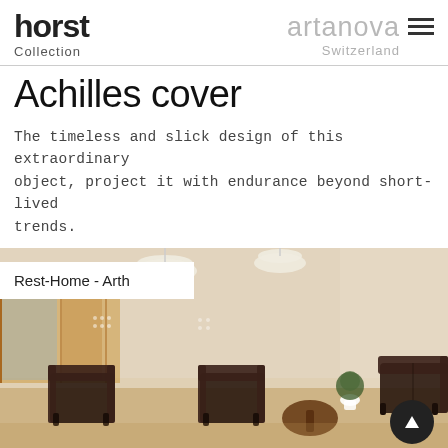horst Collection | artanova Switzerland
Achilles cover
The timeless and slick design of this extraordinary object, project it with endurance beyond short-lived trends.
[Figure (photo): Interior room with dark brown leather sofas and armchairs around a small round wooden table, with pendant lamps above and wooden paneling in background.]
Rest-Home - Arth